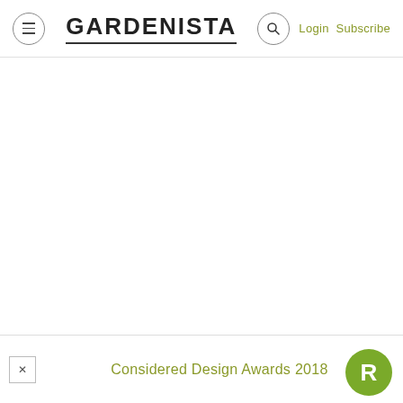≡  GARDENISTA  🔍 Login Subscribe
[Figure (screenshot): Large white/blank content area of a webpage]
Considered Design Awards 2018